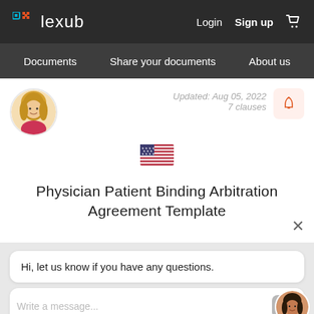lexub — Login  Sign up
Documents  Share your documents  About us
Updated: Aug 05, 2022
7 clauses
[Figure (illustration): US flag emoji]
Physician Patient Binding Arbitration Agreement Template
Hi, let us know if you have any questions.
Write a message...
Updated: Mar 22, 2022